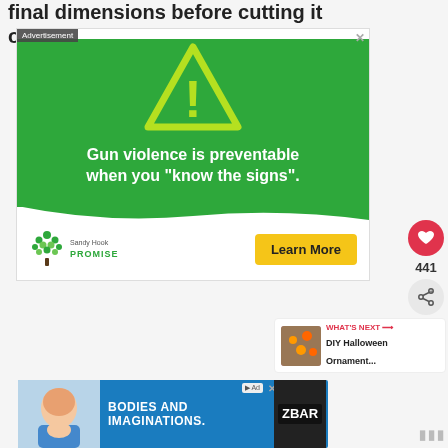final dimensions before cutting it out.
[Figure (screenshot): Green advertisement for Sandy Hook Promise: warning triangle icon, headline 'Gun violence is preventable when you "know the signs".' with Learn More button and Sandy Hook Promise logo]
[Figure (screenshot): Side social buttons: heart (like) button with count 441, share button]
[Figure (screenshot): What's Next panel: DIY Halloween Ornament...]
[Figure (screenshot): Bottom advertisement: BODIES AND IMAGINATIONS. with Z BAR branding and child eating chocolate bar]